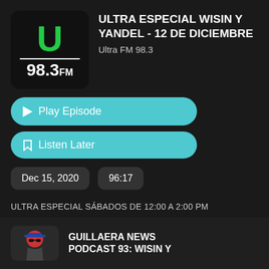[Figure (logo): Ultra FM 98.3 radio station logo: black rounded square with green U letter, white horizontal line, and 98.3FM text in white]
ULTRA ESPECIAL WISIN Y YANDEL - 12 DE DICIEMBRE
Ultra FM 98.3
Play Episode
Listen Later
Dec 15, 2020
96:17
ULTRA ESPECIAL SÁBADOS DE 12:00 A 2:00 PM
# wisin y yandel
[Figure (photo): Thumbnail image showing a person with a cap and sunglasses, partially visible]
GUILLAERA NEWS PODCAST 93: WISIN Y